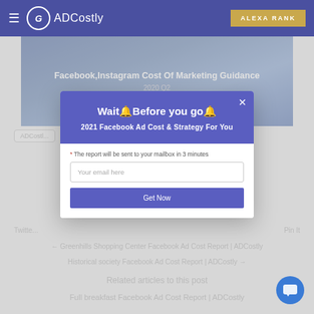ADCostly — ALEXA RANK
[Figure (screenshot): Hero banner showing Facebook, Instagram Cost Of Marketing Guidance 2020 Q2]
ADCostl...
Wait🔔Before you go🔔
2021 Facebook Ad Cost & Strategy For You
* The report will be sent to your mailbox in 3 minutes
Your email here
Get Now
Twitte...
Pin It
← Greenhills Shopping Center Facebook Ad Cost Report | ADCostly
Historical society Facebook Ad Cost Report | ADCostly →
Related articles to this post
Full breakfast Facebook Ad Cost Report | ADCostly